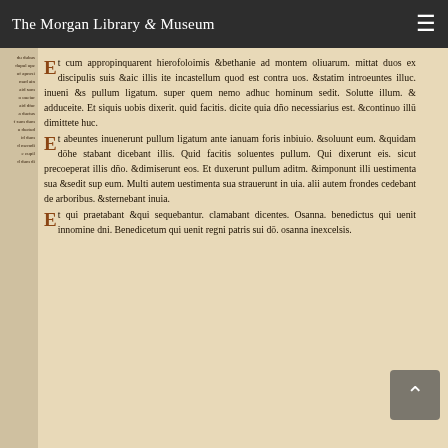The Morgan Library & Museum
[Figure (photo): Photograph of a medieval manuscript page showing Latin text in Gothic script, with decorated drop capitals in brown/ochre ink. The manuscript page has cream/parchment colored background with three text sections separated by decorated initials 'E'. Left margin contains smaller annotation text. The manuscript appears to be a Gospel book showing the Palm Sunday narrative from Mark 11.]
et cum appropinquarent hierololomis &bethanie ad montem oliuarum. mittat duos ex discipulis suis &aic illis ite incastellum quod est contra uos. &statim introeuntes illuc. inueni &s pullum ligatum. super quem nemo adhuc hominum sedit. Solutte illum. &adducite. Et siquis uobis dixerit. quid facitis. dicite quia dno necessarius est. &continuo illū dimittet huc. Et abeuntes inuenerunt pullum ligatum ante ianuam foris inbiuio. &soluunt eum. Quidam dōhe stabant dicebant illis. Quid facitis soluentes pullum. Qui dixerunt eis. sicut precoeperat illis dno. &dimiserunt eos. Et duxerunt pullum aditm. &imponunt illi uestimenta sua &sedit sup eum. Multi autem uestimenta sua strauerunt in uia. alii autem frondes cedebant de arboribus. &sternebant inuia. Et qui praetabant &qui sequebant ur. clamabant dicentes. Osanna. benedictus qui uenit innomine dni. Benedicetum qui uenit regni patris sui dō. osanna inexcelsis.